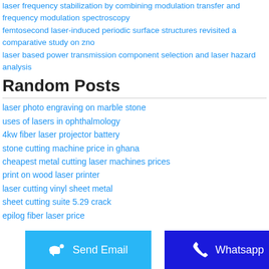laser frequency stabilization by combining modulation transfer and frequency modulation spectroscopy
femtosecond laser-induced periodic surface structures revisited a comparative study on zno
laser based power transmission component selection and laser hazard analysis
Random Posts
laser photo engraving on marble stone
uses of lasers in ophthalmology
4kw fiber laser projector battery
stone cutting machine price in ghana
cheapest metal cutting laser machines prices
print on wood laser printer
laser cutting vinyl sheet metal
sheet cutting suite 5.29 crack
epilog fiber laser price